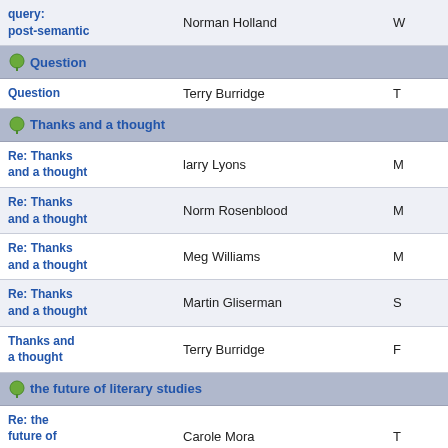| Subject | Author | Date |
| --- | --- | --- |
| query: post-semantic | Norman Holland | W |
| Question (header) |  |  |
| Question | Terry Burridge | T |
| Thanks and a thought (header) |  |  |
| Re: Thanks and a thought | larry Lyons | M |
| Re: Thanks and a thought | Norm Rosenblood | M |
| Re: Thanks and a thought | Meg Williams | M |
| Re: Thanks and a thought | Martin Gliserman | S |
| Thanks and a thought | Terry Burridge | F |
| the future of literary studies (header) |  |  |
| Re: the future of literary studies | Carole Mora | T |
| Re: the future of literary studies | Carole Mora | T |